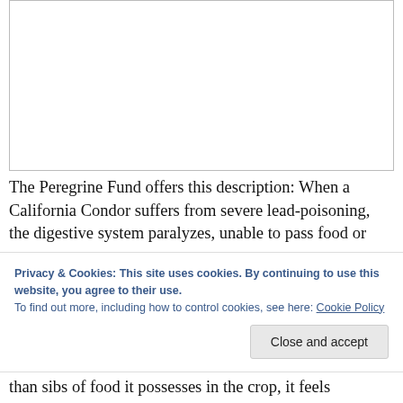[Figure (photo): White blank image area with a thin border, representing a photo placeholder on the page.]
The Peregrine Fund offers this description: When a California Condor suffers from severe lead-poisoning, the digestive system paralyzes, unable to pass food or
Privacy & Cookies: This site uses cookies. By continuing to use this website, you agree to their use.
To find out more, including how to control cookies, see here: Cookie Policy
Close and accept
than sibs of food it possesses in the crop, it feels